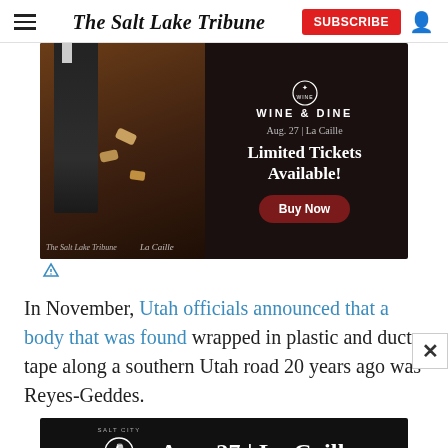The Salt Lake Tribune
[Figure (photo): Advertisement for Salt Lake Tribune Wine & Dine event at La Caille, Aug. 27. Shows wine bottle and corks on wooden surface with text 'Limited Tickets Available!' and 'Buy Now' button.]
In November, Utah officials announced that a body that was found wrapped in plastic and duct tape along a southern Utah road 20 years ago was Reyes-Geddes.
[Figure (photo): Bottom advertisement banner for Salt City Wine & Dine event: Aug. 27 | La Caille]